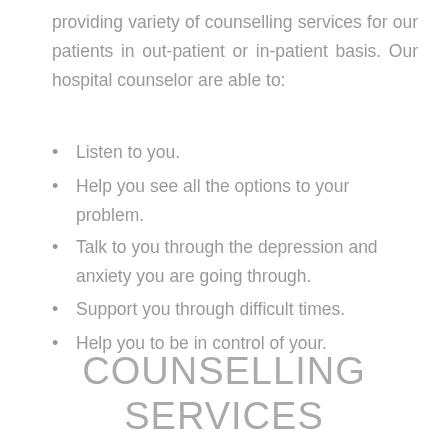providing variety of counselling services for our patients in out-patient or in-patient basis. Our hospital counselor are able to:
Listen to you.
Help you see all the options to your problem.
Talk to you through the depression and anxiety you are going through.
Support you through difficult times.
Help you to be in control of your.
COUNSELLING SERVICES